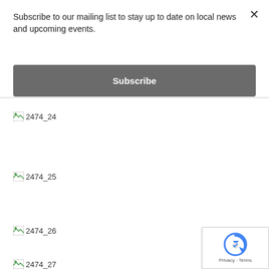Subscribe to our mailing list to stay up to date on local news and upcoming events.
Subscribe
[Figure (other): Broken image placeholder labeled 2474_24]
[Figure (other): Broken image placeholder labeled 2474_25]
[Figure (other): Broken image placeholder labeled 2474_26]
[Figure (other): Broken image placeholder labeled 2474_27]
[Figure (other): reCAPTCHA privacy badge with logo and Privacy · Terms text]